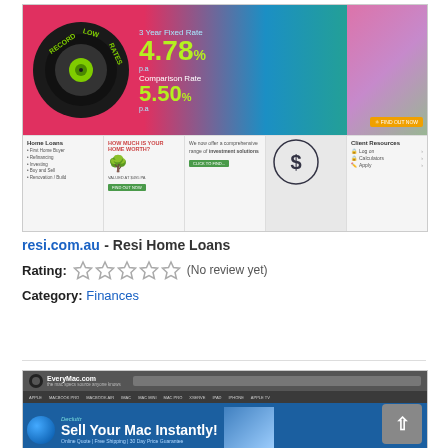[Figure (screenshot): Screenshot of resi.com.au - Resi Home Loans website showing a colorful banner with 'Record Low Rates', '3 Year Fixed Rate 4.78%', 'Comparison Rate 5.50%', navigation sections including Home Loans, Investment solutions, Client Resources, Testimonials, Latest News, Connect With Us]
resi.com.au - Resi Home Loans
Rating: (No review yet)
Category: Finances
[Figure (screenshot): Screenshot of EveryMac.com website showing a banner 'Sell Your Mac Instantly!' with subtitle 'Online Quote | Free Shipping | 30 Day Price Guarantee']